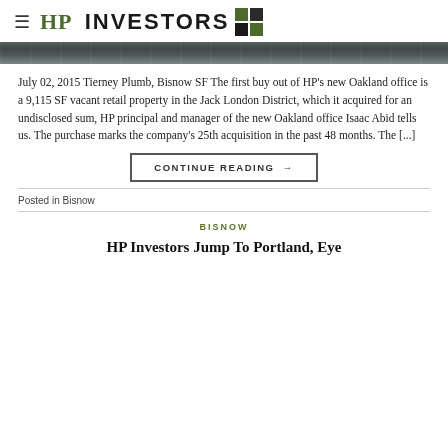HP INVESTORS
[Figure (photo): Street-level photo strip showing an urban retail/commercial street scene]
July 02, 2015 Tierney Plumb, Bisnow SF The first buy out of HP's new Oakland office is a 9,115 SF vacant retail property in the Jack London District, which it acquired for an undisclosed sum, HP principal and manager of the new Oakland office Isaac Abid tells us. The purchase marks the company's 25th acquisition in the past 48 months. The [...]
CONTINUE READING →
Posted in Bisnow
BISNOW
HP Investors Jump To Portland, Eye